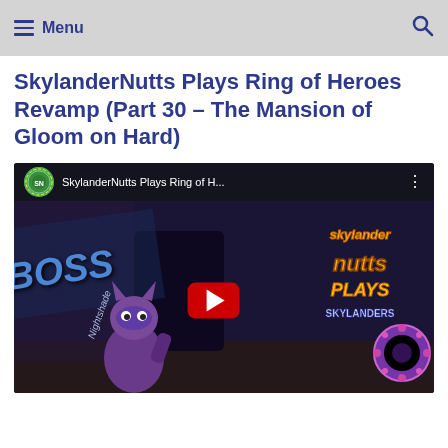Menu
SkylanderNutts Plays Ring of Heroes Revamp (Part 30 – The Mansion of Gloom on Hard)
[Figure (screenshot): Embedded YouTube video thumbnail showing SkylanderNutts Plays Ring of H... with game scene depicting BOSS label, Nightshade character, Skylander Nutts Plays logo, and a red YouTube play button overlay]